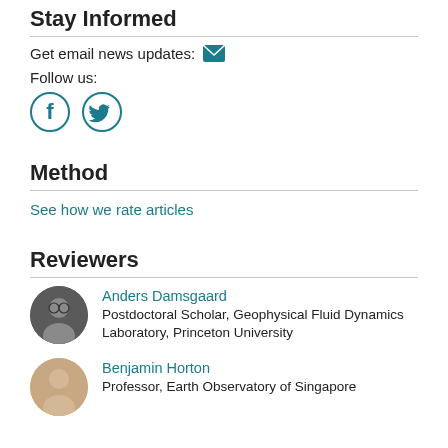Stay Informed
Get email news updates: [email icon]
Follow us:
[Figure (illustration): Facebook and Twitter circular teal social media icons]
Method
See how we rate articles
Reviewers
[Figure (photo): Circular headshot of Anders Damsgaard]
Anders Damsgaard
Postdoctoral Scholar, Geophysical Fluid Dynamics Laboratory, Princeton University
[Figure (photo): Circular headshot of Benjamin Horton]
Benjamin Horton
Professor, Earth Observatory of Singapore